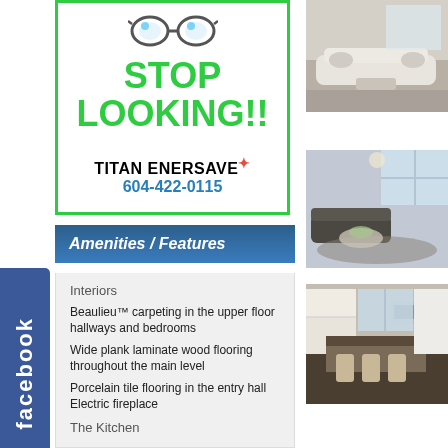[Figure (illustration): Advertisement box with glasses icon, green border, text STOP LOOKING!!, Titan Enersave with phone number 604-422-0115]
Amenities / Features
Interiors
Beaulieu™ carpeting in the upper floor hallways and bedrooms
Wide plank laminate wood flooring throughout the main level
Porcelain tile flooring in the entry hall Electric fireplace
The Kitchen
[Figure (photo): Interior photo of a living room with white sofas and light decor]
[Figure (photo): Interior photo of an open living and dining space with large windows]
[Figure (photo): Interior photo of a modern kitchen and dining area with dark wood floors]